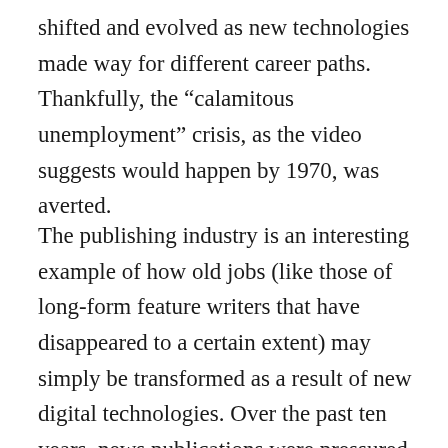shifted and evolved as new technologies made way for different career paths. Thankfully, the “calamitous unemployment” crisis, as the video suggests would happen by 1970, was averted.
The publishing industry is an interesting example of how old jobs (like those of long-form feature writers that have disappeared to a certain extent) may simply be transformed as a result of new digital technologies. Over the past ten years, news publications were pressured to offer their web content for free because online advertising revenues were skyrocketing and the expectation was that digital ads would supplement a sharp decline in print subscriptions (because everyone